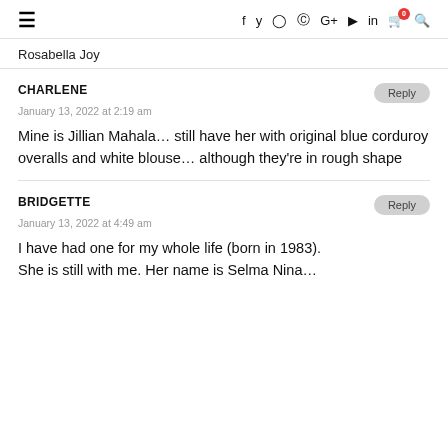≡  f  twitter  instagram  pinterest  G+  youtube  in  🛒0  🔍
Rosabella Joy
CHARLENE
January 13, 2022 at 2:19 am
Mine is Jillian Mahala… still have her with original blue corduroy overalls and white blouse… although they're in rough shape
BRIDGETTE
January 13, 2022 at 4:49 am
I have had one for my whole life (born in 1983). She is still with me. Her name is Selma Nina…